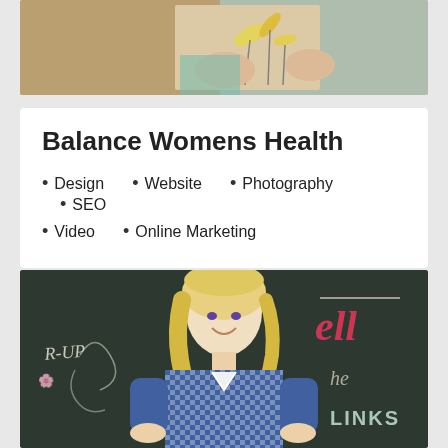[Figure (photo): Top portion of a photo showing hands holding wheat or flowers with a basket-weave background, partially cropped]
Balance Womens Health
Design
Website
Photography
SEO
Video
Online Marketing
[Figure (photo): Woman with blonde hair wearing a blue and white gingham/plaid shirt, smiling, standing in front of a dark chalkboard with cursive writing including words like 'LINKS' and other chalk lettering]